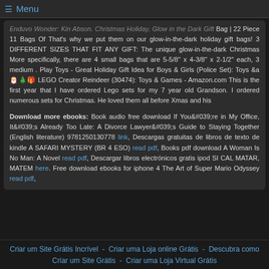Menu
Enduvo Wonder: Kin Abson, Christmas Holiday, Glow in the Dark Gift Bag | 22 Piece 11 Bags Of That's why we put them on our glow-in-the-dark holiday gift bags! 3 DIFFERENT SIZES THAT FIT ANY GIFT: The unique glow-in-the-dark Christmas More specifically, there are 4 small bags that are 5-5/8" x 4-3/8" x 2-1/2" each, 3 medium . Play Toys - Great Holiday Gift Idea for Boys & Girls (Police Set): Toys &a 🎅🎄🎁 LEGO Creator Reindeer (30474): Toys & Games - Amazon.com This is the first year that I have ordered Lego sets for my 7 year old Grandson. I ordered numerous sets for Christmas. He loved them all before Xmas and his
Download more ebooks: Book audio free download If You're in My Office, It's Already Too Late: A Divorce Lawyer's Guide to Staying Together (English literature) 9781250130778 link, Descargas gratuitas de libros de texto de kindle A SAFARI MYSTERY (BR 4 ESO) read pdf, Books pdf download A Woman Is No Man: A Novel read pdf, Descargar libros electrónicos gratis ipod SI CAL MATAR, MATEM here, Free download ebooks for iphone 4 The Art of Super Mario Odyssey read pdf,
Criar um Site Grátis Incrível - Criar uma Loja online Grátis - Descubra como Criar um Site Grátis - Criar uma Loja Virtual Grátis